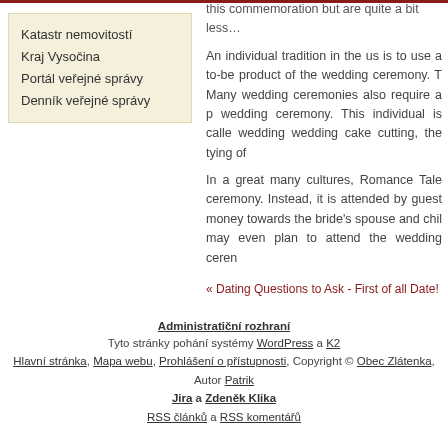Katastr nemovitostí
Kraj Vysočina
Portál veřejné správy
Denník veřejné správy
this commemoration but are quite a bit less...
An individual tradition in the us is to use a to-be product of the wedding ceremony. T Many wedding ceremonies also require a p wedding ceremony. This individual is calle wedding wedding cake cutting, the tying of
In a great many cultures, Romance Tale ceremony. Instead, it is attended by guest money towards the bride's spouse and chil may even plan to attend the wedding cerer
« Dating Questions to Ask - First of all Date!
Administratiční rozhraní
Tyto stránky pohání systémy WordPress a K2
Hlavní stránka, Mapa webu, Prohlášení o přístupnosti, Copyright © Obec Zlátenka, Autor Patrik Jira a Zdeněk Klika
RSS článků a RSS komentářů